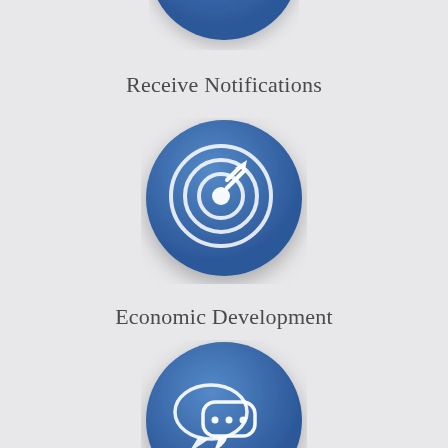[Figure (illustration): Partial blue circular button with notification bell icon, cropped at top]
Receive Notifications
[Figure (illustration): Blue circular button with target/bullseye and arrow icon representing Economic Development]
Economic Development
[Figure (illustration): Blue circular button with speech bubbles and stars icon representing Report a Concern]
Report a Concern
[Figure (illustration): Partial blue circular button cropped at bottom of page]